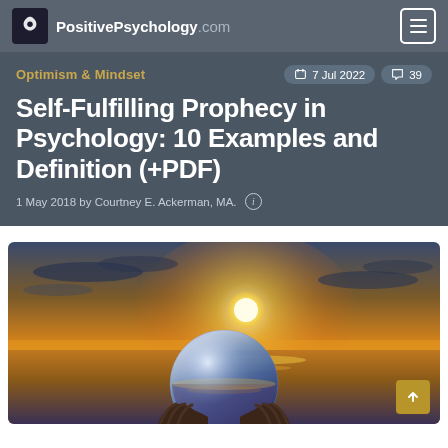PositivePsychology.com
Optimism & Mindset
7 Jul 2022   39
Self-Fulfilling Prophecy in Psychology: 10 Examples and Definition (+PDF)
1 May 2018 by Courtney E. Ackerman, MA.
[Figure (photo): Person holding a glass crystal ball against a sunset sky over water, with warm orange and golden tones. The ball reflects the horizon.]